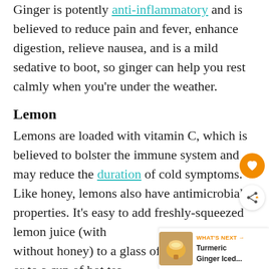Ginger is potently anti-inflammatory and is believed to reduce pain and fever, enhance digestion, relieve nausea, and is a mild sedative to boot, so ginger can help you rest calmly when you're under the weather.
Lemon
Lemons are loaded with vitamin C, which is believed to bolster the immune system and may reduce the duration of cold symptoms. Like honey, lemons also have antimicrobial properties. It's easy to add freshly-squeezed lemon juice (with without honey) to a glass of warm water or to a cup of hot tea.